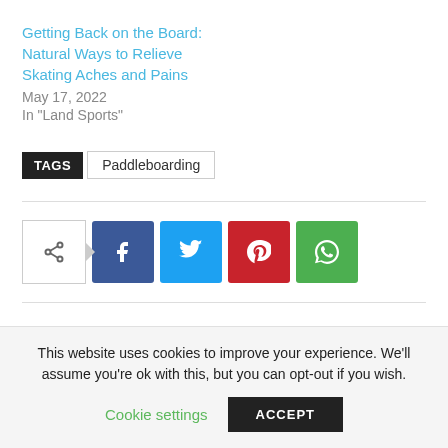Getting Back on the Board: Natural Ways to Relieve Skating Aches and Pains
May 17, 2022
In "Land Sports"
TAGS  Paddleboarding
[Figure (infographic): Social share buttons: share icon outline, Facebook (blue), Twitter (light blue), Pinterest (red), WhatsApp (green)]
This website uses cookies to improve your experience. We'll assume you're ok with this, but you can opt-out if you wish.
Cookie settings    ACCEPT